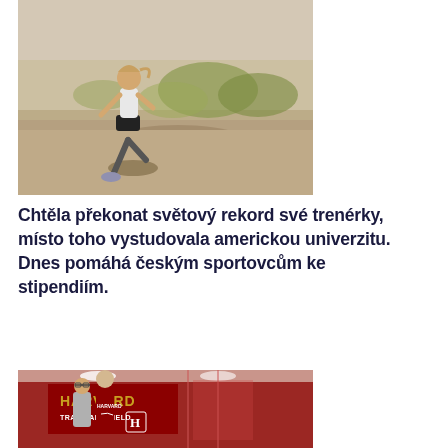[Figure (photo): Female runner in motion on a dirt trail outdoors, wearing dark shorts and a light top, with shrubby landscape in background.]
Chtěla překonat světový rekord své trenérky, místo toho vystudovala americkou univerzitu. Dnes pomáhá českým sportovcům ke stipendiím.
[Figure (photo): Two people posing indoors at a Harvard Track and Field facility. A shorter man in glasses on the left and a taller young woman wearing a Harvard athletic top on the right, with a Harvard Track and Field banner visible in the background.]